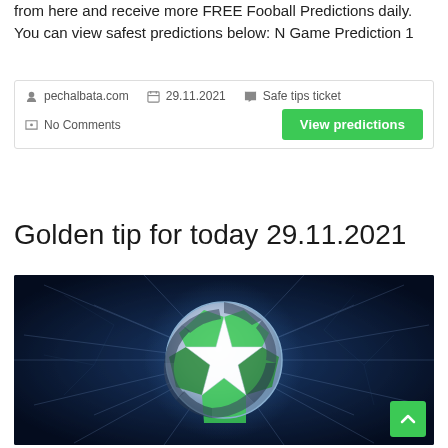from here and receive more FREE Fooball Predictions daily. You can view safest predictions below: N Game Prediction 1
pechalbata.com  29.11.2021  Safe tips ticket  No Comments  View predictions
Golden tip for today 29.11.2021
[Figure (photo): UEFA Champions League ball with star pattern on dark blue background with light rays]